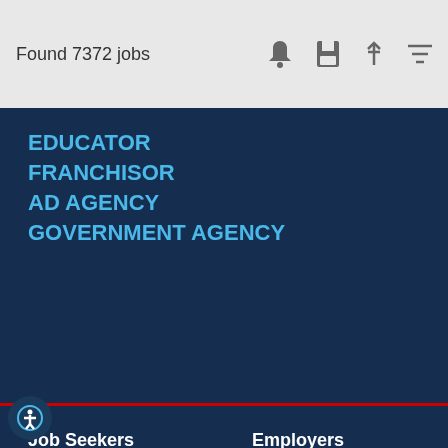Found 7372 jobs
EDUCATOR
FRANCHISOR
AD AGENCY
GOVERNMENT AGENCY
Job Seekers
Resource Center
Spouse Resource Center
Education
Job Fairs
Job Search
Job Seeker Blog
Search & Employ
Employers
Solutions
Career Fair Center
Employer Best Practices
Employer Blog
Compliance
Connecting with Veterans
Talent Acquisition